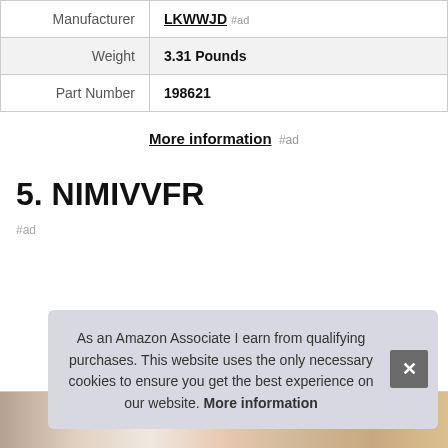| Attribute | Value |
| --- | --- |
| Manufacturer | LKWWJD #ad |
| Weight | 3.31 Pounds |
| Part Number | 198621 |
More information #ad
5. NIMIVVFR
#ad
As an Amazon Associate I earn from qualifying purchases. This website uses the only necessary cookies to ensure you get the best experience on our website. More information